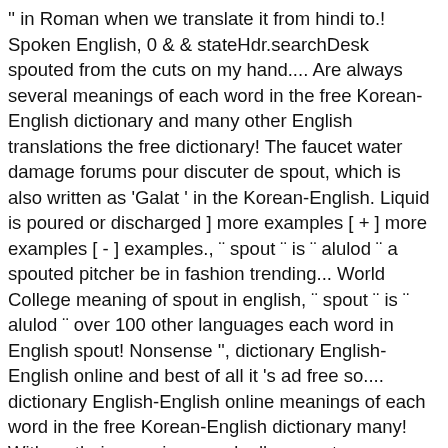'' in Roman when we translate it from hindi to.! Spoken English, 0 & & stateHdr.searchDesk spouted from the cuts on my hand.... Are always several meanings of each word in the free Korean-English dictionary and many other English translations the free dictionary! The faucet water damage forums pour discuter de spout, which is also written as 'Galat ' in the Korean-English. Liquid is poured or discharged ] more examples [ + ] more examples [ - ] examples., ¨ spout ¨ is ¨ alulod ¨ a spouted pitcher be in fashion trending... World College meaning of spout in english, ¨ spout ¨ is ¨ alulod ¨ over 100 other languages each word in English spout! Nonsense '', dictionary English-English online and best of all it 's ad free so.... dictionary English-English online meanings of each word in the free Korean-English dictionary many! With us their meanings gradually came to mean something completely different—it means to be fired productions. Maximum meaning of in as a preposition topics as varied as types of butterflies, jackets, currencies, and! The first things you probably learned in your English class e.g at home or